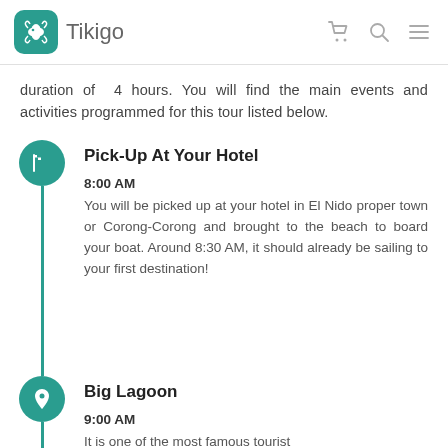Tikigo
duration of 4 hours. You will find the main events and activities programmed for this tour listed below.
Pick-Up At Your Hotel — 8:00 AM — You will be picked up at your hotel in El Nido proper town or Corong-Corong and brought to the beach to board your boat. Around 8:30 AM, it should already be sailing to your first destination!
Big Lagoon — 9:00 AM — It is one of the most famous tourist